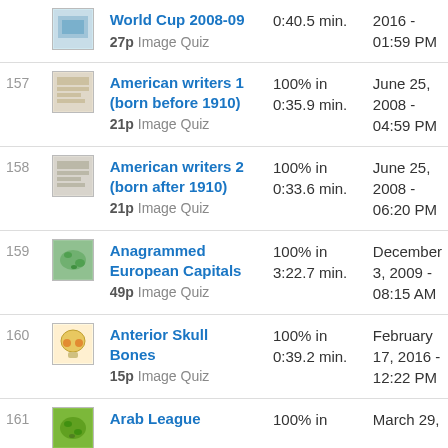| # | Image | Quiz | Score | Date |
| --- | --- | --- | --- | --- |
|  |  | World Cup 2008-09
27p Image Quiz | 0:40.5 min. | 2016 - 01:59 PM |
| 157 |  | American writers 1 (born before 1910)
21p Image Quiz | 100% in 0:35.9 min. | June 25, 2008 - 04:59 PM |
| 158 |  | American writers 2 (born after 1910)
21p Image Quiz | 100% in 0:33.6 min. | June 25, 2008 - 06:20 PM |
| 159 |  | Anagrammed European Capitals
49p Image Quiz | 100% in 3:22.7 min. | December 3, 2009 - 08:15 AM |
| 160 |  | Anterior Skull Bones
15p Image Quiz | 100% in 0:39.2 min. | February 17, 2016 - 12:22 PM |
| 161 |  | Arab League | 100% in | March 29, |